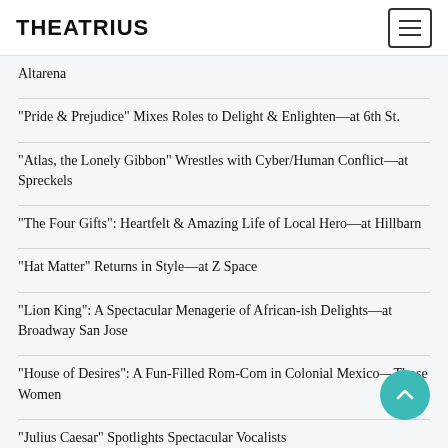THEATRIUS
Altarena
“Pride & Prejudice” Mixes Roles to Delight & Enlighten—at 6th St.
“Atlas, the Lonely Gibbon” Wrestles with Cyber/Human Conflict—at Spreckels
“The Four Gifts”: Heartfelt & Amazing Life of Local Hero—at Hillbarn
“Hat Matter” Returns in Style—at Z Space
“Lion King”: A Spectacular Menagerie of African-ish Delights—at Broadway San Jose
“House of Desires”: A Fun-Filled Rom-Com in Colonial Mexico—Those Women
“Julius Caesar” Spotlights Spectacular Vocalists